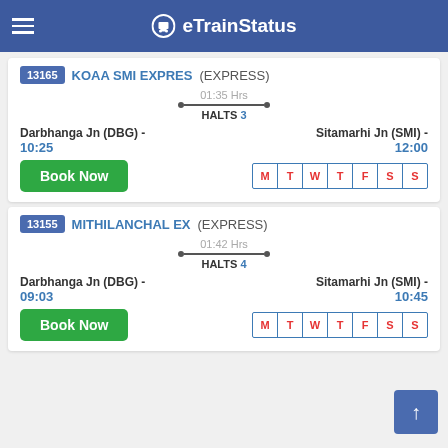eTrainStatus
13165 KOAA SMI EXPRES (EXPRESS)
01:35 Hrs
HALTS 3
Darbhanga Jn (DBG) - 10:25
Sitamarhi Jn (SMI) - 12:00
Book Now
M T W T F S S
13155 MITHILANCHAL EX (EXPRESS)
01:42 Hrs
HALTS 4
Darbhanga Jn (DBG) - 09:03
Sitamarhi Jn (SMI) - 10:45
Book Now
M T W T F S S